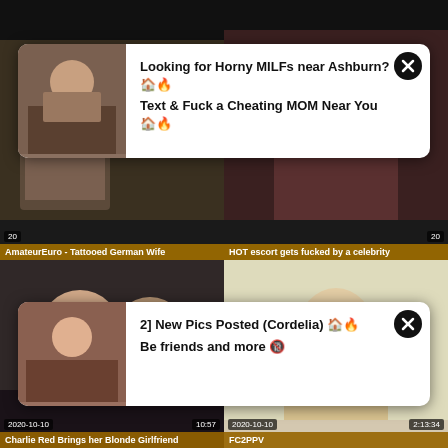[Figure (screenshot): Adult video thumbnail grid with two ad overlays. Top row: two video thumbnails partially obscured by popup ads. Bottom row: two video thumbnails. Ad 1 text: 'Looking for Horny MILFs near Ashburn? Text & Fuck a Cheating MOM Near You'. Ad 2 text: '2] New Pics Posted (Cordelia) Be friends and more'. Bottom left: 'Charlie Red Brings her Blonde Girlfriend', date 2020-10-10, duration 10:57. Bottom right: 'FC2PPV', date 2020-10-10, duration 2:13:34.]
AmateurEuro - Tattooed German Wife
HOT escort gets fucked by a celebrity
Charlie Red Brings her Blonde Girlfriend
FC2PPV